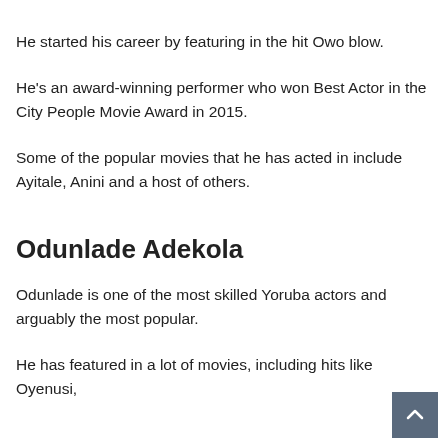He started his career by featuring in the hit Owo blow.
He's an award-winning performer who won Best Actor in the City People Movie Award in 2015.
Some of the popular movies that he has acted in include Ayitale, Anini and a host of others.
Odunlade Adekola
Odunlade is one of the most skilled Yoruba actors and arguably the most popular.
He has featured in a lot of movies, including hits like Oyenusi,